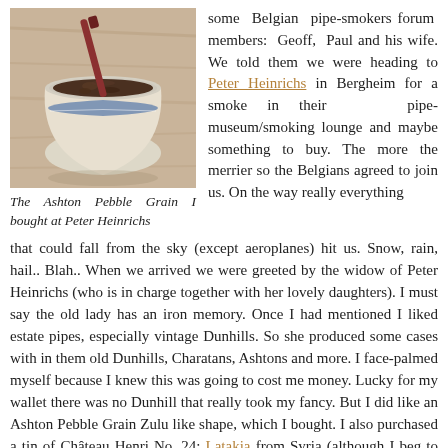[Figure (photo): A bowl of pipe tobacco with a pipe tool resting on top of it, placed on a wooden surface. The tobacco bowl has a decorative blue and white pattern.]
The Ashton Pebble Grain I bought at Peter Heinrichs
some Belgian pipe-smokers forum members: Geoff, Paul and his wife. We told them we were heading to Peter Heinrichs in Bergheim for a smoke in their pipe-museum/smoking lounge and maybe something to buy. The more the merrier so the Belgians agreed to join us. On the way really everything that could fall from the sky (except aeroplanes) hit us. Snow, rain, hail.. Blah.. When we arrived we were greeted by the widow of Peter Heinrichs (who is in charge together with her lovely daughters). I must say the old lady has an iron memory. Once I had mentioned I liked estate pipes, especially vintage Dunhills. So she produced some cases with in them old Dunhills, Charatans, Ashtons and more. I face-palmed myself because I knew this was going to cost me money. Lucky for my wallet there was no Dunhill that really took my fancy. But I did like an Ashton Pebble Grain Zulu like shape, which I bought. I also purchased a tin of Château Henri No. 24; Latakia from Syria (although I beg to differ…) and Cyprus, Virginia, a bit of Burley, a bit of....